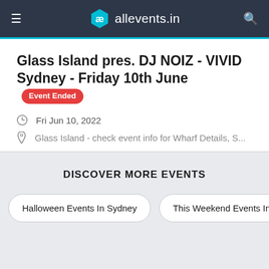allevents.in
Glass Island pres. DJ NOIZ - VIVID Sydney - Friday 10th June Event Ended
Fri Jun 10, 2022
Glass Island - check event info for Wharf Details, S...
View Details
DISCOVER MORE EVENTS
Halloween Events In Sydney
This Weekend Events In Sydne